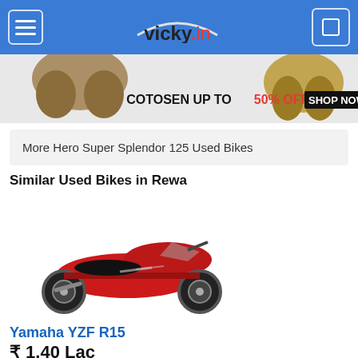vicky.in
[Figure (photo): Advertisement banner for COTOSEN showing leather jackets with text: COTOSEN UP TO 50% OFF SHOP NOW]
More Hero Super Splendor 125 Used Bikes
Similar Used Bikes in Rewa
[Figure (photo): Red Yamaha YZF R15 motorcycle, side profile view]
Yamaha YZF R15
₹ 1.40 Lac
6000 kms | 2021 |